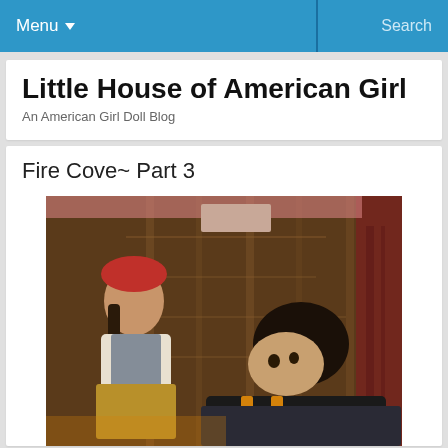Menu  Search
Little House of American Girl
An American Girl Doll Blog
Fire Cove~ Part 3
[Figure (photo): Two American Girl dolls in a rustic wooden setting. One doll on the left wears a red hat and a crocheted outfit; the other doll on the right has dark hair and wears a black outfit with yellow/orange straps.]